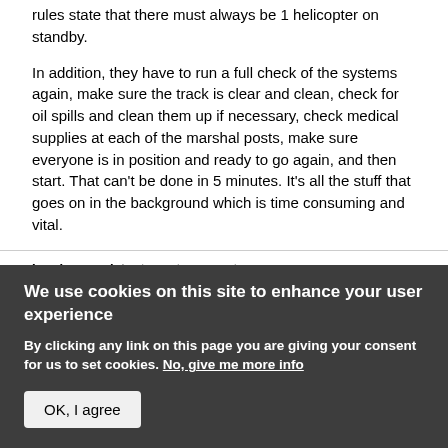rules state that there must always be 1 helicopter on standby.
In addition, they have to run a full check of the systems again, make sure the track is clear and clean, check for oil spills and clean them up if necessary, check medical supplies at each of the marshal posts, make sure everyone is in position and ready to go again, and then start. That can't be done in 5 minutes. It's all the stuff that goes on in the background which is time consuming and vital.
Log in or register to post comments
We use cookies on this site to enhance your user experience
By clicking any link on this page you are giving your consent for us to set cookies. No, give me more info
OK, I agree